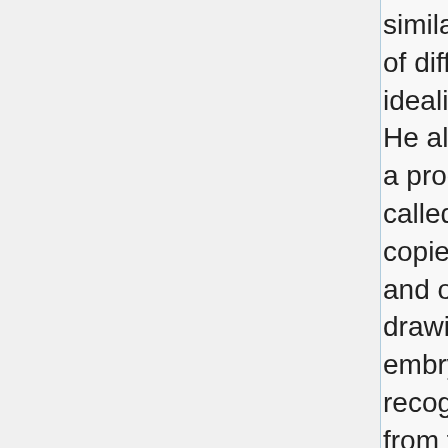similarities [between embryos of different species] by idealizations and omissions. He also, in some cases — in a procedure that can only be called fraudulent — simply copied the same figure over and over again....Haeckel's drawings never fooled expert embryologists, who recognized his fudgings right from the start. Haeckel's drawings, despite their noted inaccuracies, entered into the most impenetrable and permanent of all quasi-scientific literatures: